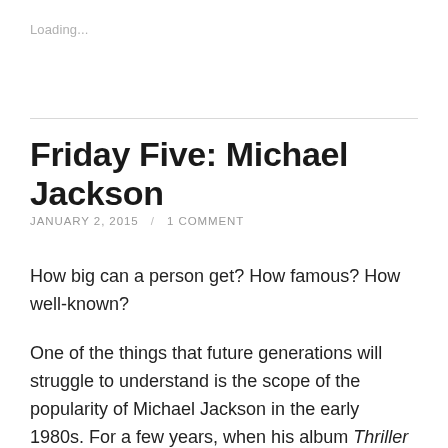Loading...
Friday Five: Michael Jackson
JANUARY 2, 2015 / 1 COMMENT
How big can a person get? How famous? How well-known?
One of the things that future generations will struggle to understand is the scope of the popularity of Michael Jackson in the early 1980s. For a few years, when his album Thriller ruled the charts and he and his brothers toured the world,